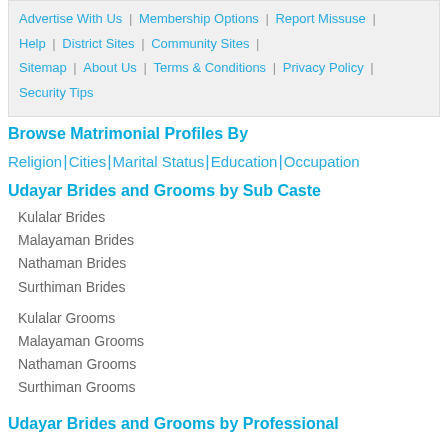Advertise With Us | Membership Options | Report Missuse | Help | District Sites | Community Sites | Sitemap | About Us | Terms & Conditions | Privacy Policy | Security Tips
Browse Matrimonial Profiles By
Religion | Cities | Marital Status | Education | Occupation
Udayar Brides and Grooms by Sub Caste
Kulalar Brides
Malayaman Brides
Nathaman Brides
Surthiman Brides
Kulalar Grooms
Malayaman Grooms
Nathaman Grooms
Surthiman Grooms
Udayar Brides and Grooms by Professional